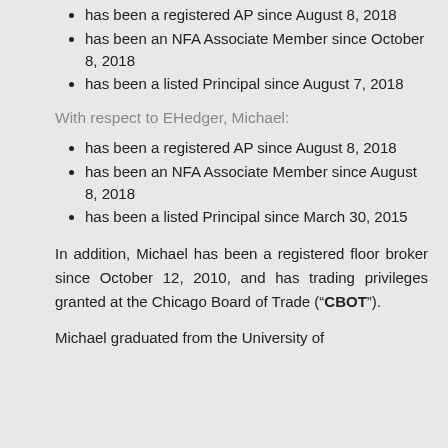has been a registered AP since August 8, 2018
has been an NFA Associate Member since October 8, 2018
has been a listed Principal since August 7, 2018
With respect to EHedger, Michael:
has been a registered AP since August 8, 2018
has been an NFA Associate Member since August 8, 2018
has been a listed Principal since March 30, 2015
In addition, Michael has been a registered floor broker since October 12, 2010, and has trading privileges granted at the Chicago Board of Trade (“CBOT”).
Michael graduated from the University of